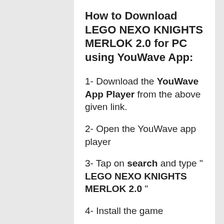How to Download LEGO NEXO KNIGHTS MERLOK 2.0 for PC using YouWave App:
1- Download the YouWave App Player from the above given link.
2- Open the YouWave app player
3- Tap on search and type " LEGO NEXO KNIGHTS MERLOK 2.0 "
4- Install the game
5- Now tap on the icon and play the installed game.
How to Download LEGO NEXO KNIGHTS MERLOK 2.0 for iOS on